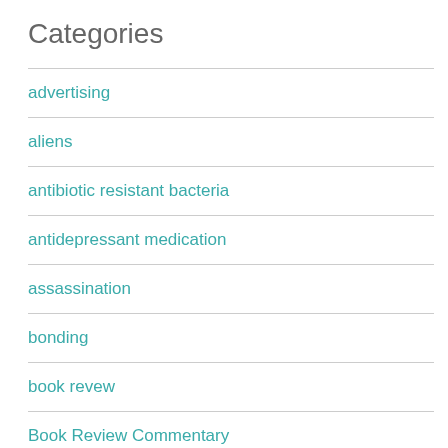Categories
advertising
aliens
antibiotic resistant bacteria
antidepressant medication
assassination
bonding
book revew
Book Review Commentary
brain damage